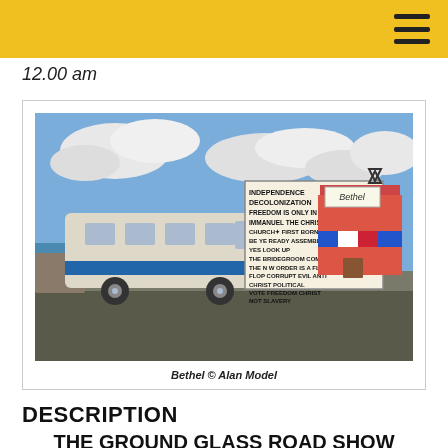12.00 am
[Figure (photo): Photograph of a painted bus with religious and political text signs reading 'INDEPENDENCE DECOLONIZATION FREEDOM IS ONLY IN IMMANUEL THE CHRIST CHURCH FIRST BORN BE YE READY ASSEMBLY YES LOOK UP THE BRIDEGROOM COMETH THE N W ORDER IS A FLOP FLOP CORRUPT EVIL ANTI CHRIST POLITICAL VOTE FREEDOM CHRIST NOT SLAVERY'. A colorful building labeled Bethel is in the background. Caption: Bethel © Alan Model]
Bethel © Alan Model
DESCRIPTION
THE GROUND GLASS ROAD SHOW "THE WRITTEN WORD – PART II @ RYE"